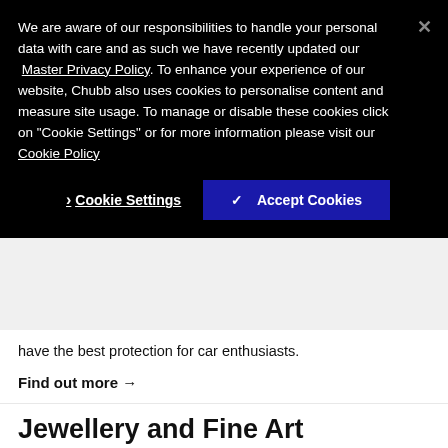We are aware of our responsibilities to handle your personal data with care and as such we have recently updated our Master Privacy Policy. To enhance your experience of our website, Chubb also uses cookies to personalise content and measure site usage. To manage or disable these cookies click on "Cookie Settings" or for more information please visit our Cookie Policy
Cookie Settings
✓ Accept Cookies
have the best protection for car enthusiasts.
Find out more →
Jewellery and Fine Art
As one of the world's largest providers of jewellery and fine art insurance, you can count on our unparalleled